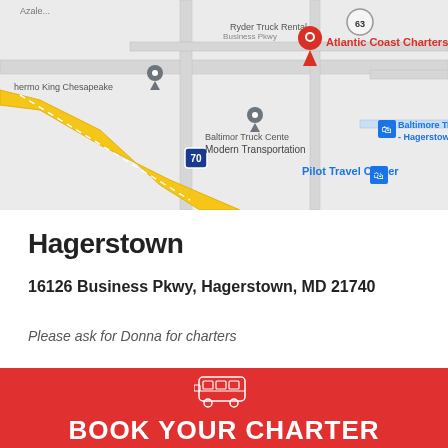[Figure (map): Google Maps screenshot showing the location of Atlantic Coast Charters at 16126 Business Pkwy, Hagerstown, MD. Nearby landmarks include Ryder Truck Rental, Thermo King Chesapeake, Baltimore Truck Center, Modern Transportation, and Pilot Travel Center. Interstate 70 is visible.]
Hagerstown
16126 Business Pkwy, Hagerstown, MD 21740
Please ask for Donna for charters
BOOK YOUR CHARTER